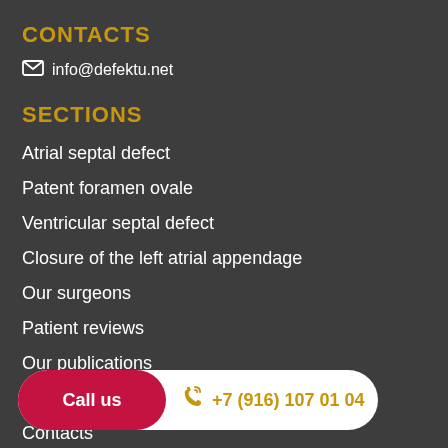CONTACTS
info@defektu.net
SECTIONS
Atrial septal defect
Patent foramen ovale
Ventricular septal defect
Closure of the left atrial appendage
Our surgeons
Patient reviews
Our publications
Make an appointment
Contacts
Call us  +7 (916) 107 01 04